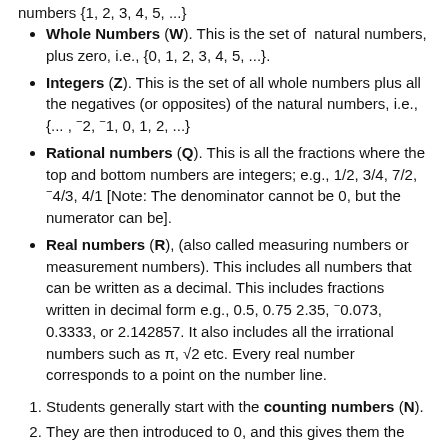numbers {1, 2, 3, 4, 5, ...}
Whole Numbers (W). This is the set of natural numbers, plus zero, i.e., {0, 1, 2, 3, 4, 5, ...}.
Integers (Z). This is the set of all whole numbers plus all the negatives (or opposites) of the natural numbers, i.e., {..., -2, -1, 0, 1, 2, ...}
Rational numbers (Q). This is all the fractions where the top and bottom numbers are integers; e.g., 1/2, 3/4, 7/2, -4/3, 4/1 [Note: The denominator cannot be 0, but the numerator can be].
Real numbers (R), (also called measuring numbers or measurement numbers). This includes all numbers that can be written as a decimal. This includes fractions written in decimal form e.g., 0.5, 0.75 2.35, -0.073, 0.3333, or 2.142857. It also includes all the irrational numbers such as π, √2 etc. Every real number corresponds to a point on the number line.
Students generally start with the counting numbers (N).
They are then introduced to 0, and this gives them the